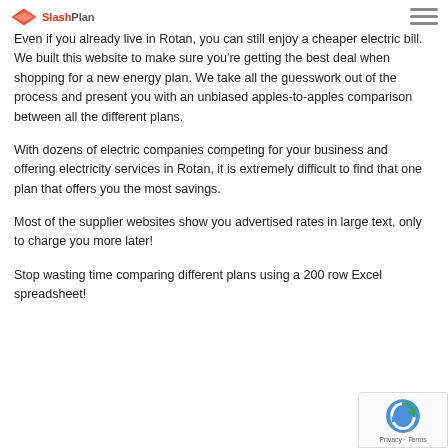SlashPlan logo and hamburger menu
Even if you already live in Rotan, you can still enjoy a cheaper electric bill. We built this website to make sure you're getting the best deal when shopping for a new energy plan. We take all the guesswork out of the process and present you with an unbiased apples-to-apples comparison between all the different plans.
With dozens of electric companies competing for your business and offering electricity services in Rotan, it is extremely difficult to find that one plan that offers you the most savings.
Most of the supplier websites show you advertised rates in large text, only to charge you more later!
Stop wasting time comparing different plans using a 200 row Excel spreadsheet!